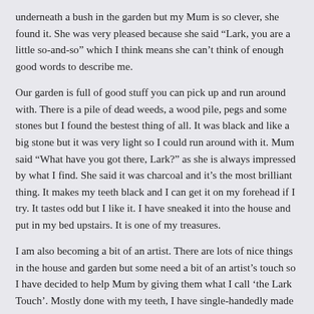underneath a bush in the garden but my Mum is so clever, she found it. She was very pleased because she said “Lark, you are a little so-and-so” which I think means she can’t think of enough good words to describe me.
Our garden is full of good stuff you can pick up and run around with. There is a pile of dead weeds, a wood pile, pegs and some stones but I found the bestest thing of all. It was black and like a big stone but it was very light so I could run around with it. Mum said “What have you got there, Lark?” as she is always impressed by what I find. She said it was charcoal and it’s the most brilliant thing. It makes my teeth black and I can get it on my forehead if I try. It tastes odd but I like it. I have sneaked it into the house and put in my bed upstairs. It is one of my treasures.
I am also becoming a bit of an artist. There are lots of nice things in the house and garden but some need a bit of an artist’s touch so I have decided to help Mum by giving them what I call ‘the Lark Touch’. Mostly done with my teeth, I have single-handedly made the garden hose reel a bit more modern with a twisted look to the casing and have removed the central part of the handle. It looks so much better and I am sure Mum will be very pleased when she sees it. I really am her little so-and-so.